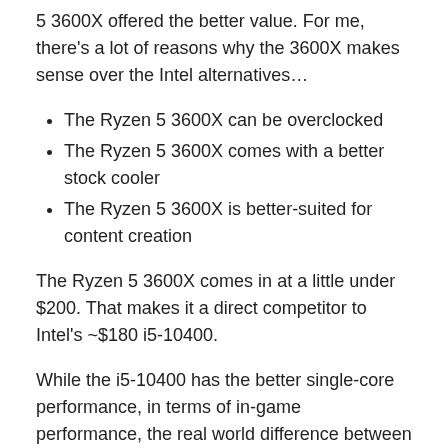5 3600X offered the better value. For me, there's a lot of reasons why the 3600X makes sense over the Intel alternatives…
The Ryzen 5 3600X can be overclocked
The Ryzen 5 3600X comes with a better stock cooler
The Ryzen 5 3600X is better-suited for content creation
The Ryzen 5 3600X comes in at a little under $200. That makes it a direct competitor to Intel's ~$180 i5-10400.
While the i5-10400 has the better single-core performance, in terms of in-game performance, the real world difference between the Ryzen 5 3600X and i5-10400 at stock speeds will be negligible at best. The